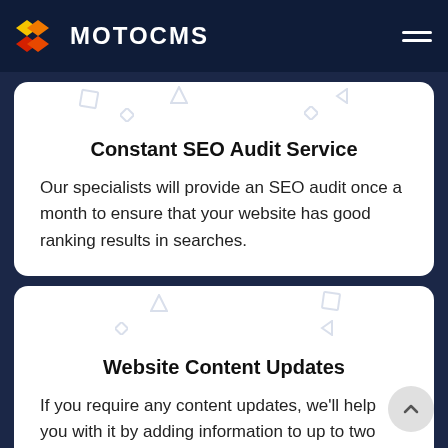MOTOCMS
Constant SEO Audit Service
Our specialists will provide an SEO audit once a month to ensure that your website has good ranking results in searches.
Website Content Updates
If you require any content updates, we'll help you with it by adding information to up to two pages of your website per